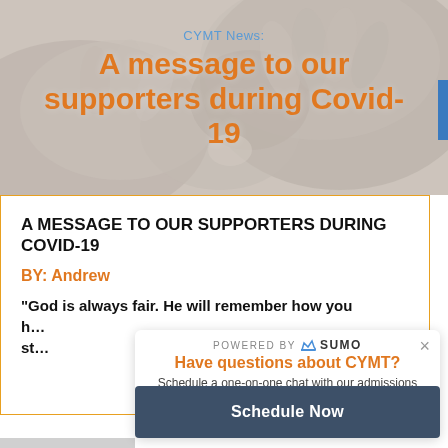[Figure (photo): Black and white photo of hands clasped together (comforting gesture), with orange and blue overlaid text reading 'CYMT News: A message to our supporters during Covid-19']
A MESSAGE TO OUR SUPPORTERS DURING COVID-19
BY: Andrew
“God is always fair. He will remember how you h... st...
POWERED BY SUMO
Have questions about CYMT?
Schedule a one-on-one chat with our admissions staff!
Schedule Now